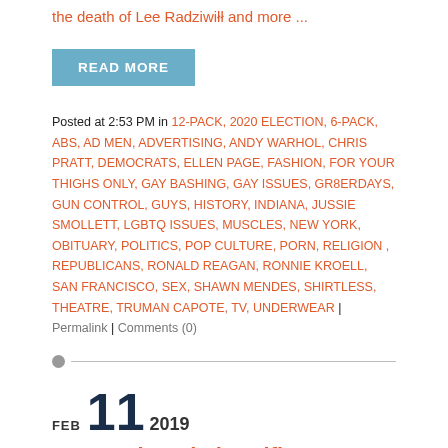the death of Lee Radziwiłł and more ...
READ MORE
Posted at 2:53 PM in 12-PACK, 2020 ELECTION, 6-PACK, ABS, AD MEN, ADVERTISING, ANDY WARHOL, CHRIS PRATT, DEMOCRATS, ELLEN PAGE, FASHION, FOR YOUR THIGHS ONLY, GAY BASHING, GAY ISSUES, GR8ERDAYS, GUN CONTROL, GUYS, HISTORY, INDIANA, JUSSIE SMOLLETT, LGBTQ ISSUES, MUSCLES, NEW YORK, OBITUARY, POLITICS, POP CULTURE, PORN, RELIGION , REPUBLICANS, RONALD REAGAN, RONNIE KROELL, SAN FRANCISCO, SEX, SHAWN MENDES, SHIRTLESS, THEATRE, TRUMAN CAPOTE, TV, UNDERWEAR | Permalink | Comments (0)
FEB 11 2019
Expressing Their Selfies + Pratt Says His Church Is Love + Yet Another ...